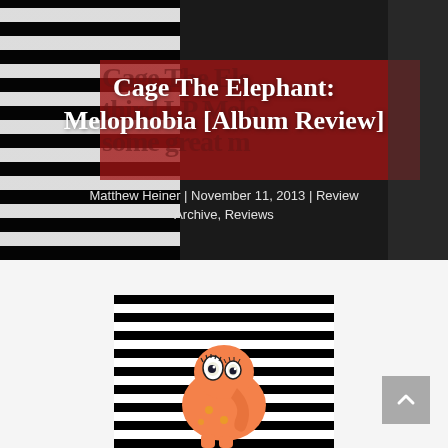[Figure (photo): Hero banner with black-and-white striped background on left, red overlay banner with watermark text 'Cage The Elephant' and 'third LP Melo' and 'some great m', dark right edge, showing a webpage header image for Cage The Elephant Melophobia album review]
Cage The Elephant: Melophobia [Album Review]
Matthew Heiner | November 11, 2013 | Review Archive, Reviews
[Figure (photo): Cage The Elephant Melophobia album cover showing black and white vertical stripes with a colorful illustrated elephant figure in orange/yellow/blue in the foreground, CAGE THE ELEPHANT text at top]